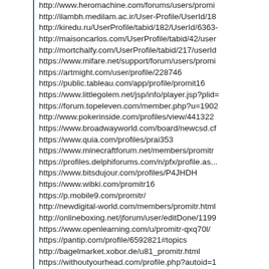http://www.heromachine.com/forums/users/promi
http://ilambh.medilam.ac.ir/User-Profile/UserId/18
http://kiredu.ru/UserProfile/tabid/182/UserId/6363-
http://maisoncarlos.com/UserProfile/tabid/42/user
http://mortchalfy.com/UserProfile/tabid/217/userId
https://www.mifare.net/support/forum/users/promi
https://artmight.com/user/profile/228746
https://public.tableau.com/app/profile/promit16
https://www.littlegolem.net/jsp/info/player.jsp?plid=
https://forum.topeleven.com/member.php?u=1902
http://www.pokerinside.com/profiles/view/441322
https://www.broadwayworld.com/board/newcsd.cf
https://www.quia.com/profiles/prai353
https://www.minecraftforum.net/members/promitr
https://profiles.delphiforums.com/n/pfx/profile.as...
https://www.bitsdujour.com/profiles/P4JHDH
https://www.wibki.com/promitr16
https://p.mobile9.com/promitr/
http://newdigital-world.com/members/promitr.html
http://onlineboxing.net/jforum/user/editDone/1199
https://www.openlearning.com/u/promitr-qxq70l/
https://pantip.com/profile/6592821#topics
http://bagelmarket.xobor.de/u81_promitr.html
https://withoutyourhead.com/profile.php?autoid=1
https://beforeitsnews.com/v3/contributor/bio/?uid=